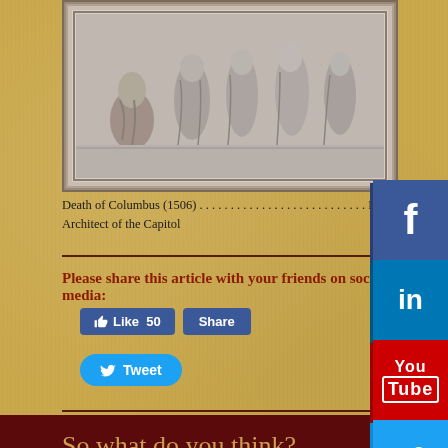[Figure (photo): Relief sculpture depicting Death of Columbus (1506), a silver/gray stone bas-relief showing multiple robed figures in a framed rectangular panel]
Death of Columbus (1506) . . . . . . . . . . . . . . . . . . . . . . . . . . . Photo: Architect of the Capitol
Please share this article with your friends on social media:
[Figure (screenshot): Facebook Like (50) and Share buttons in blue]
[Figure (screenshot): Twitter Tweet button in light blue]
So what do you think? / ¿Entonces, qué